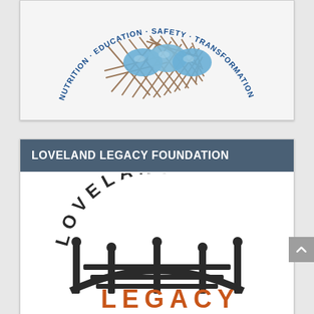[Figure (logo): Circular logo with a bird nest containing blue eggs in the center, surrounded by text 'NUTRITION · EDUCATION · SAFETY · TRANSFORMATION' in blue, hand-drawn style on white background]
LOVELAND LEGACY FOUNDATION
[Figure (logo): Loveland Legacy Foundation logo: 'LOVELAND' text arched above a dark bridge/gate icon, with 'LEGACY' in orange bold text below, on white background]